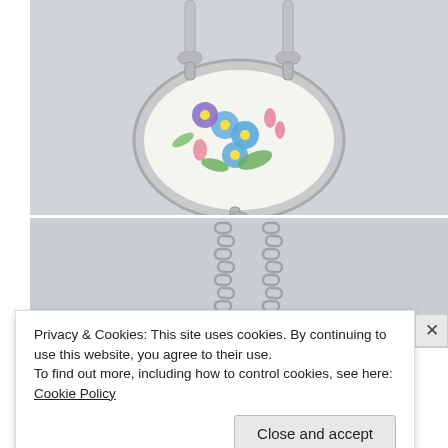[Figure (photo): A silver oval pendant necklace with a hand-painted porcelain insert showing blue forget-me-not flowers, purple and pink flowers, and green foliage on a white background. The pendant hangs from a silver snake chain against a light gray background.]
[Figure (photo): Close-up of a silver rolo/cable chain against a light gray background, showing two parallel strands of silver chain links.]
Privacy & Cookies: This site uses cookies. By continuing to use this website, you agree to their use.
To find out more, including how to control cookies, see here: Cookie Policy
Close and accept